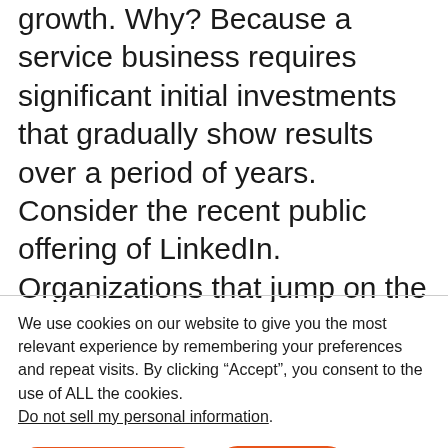growth. Why? Because a service business requires significant initial investments that gradually show results over a period of years. Consider the recent public offering of LinkedIn. Organizations that jump on the RMR bandwagon without proper planning and intense commitment will jump off as soon as the investments get too
We use cookies on our website to give you the most relevant experience by remembering your preferences and repeat visits. By clicking “Accept”, you consent to the use of ALL the cookies. Do not sell my personal information.